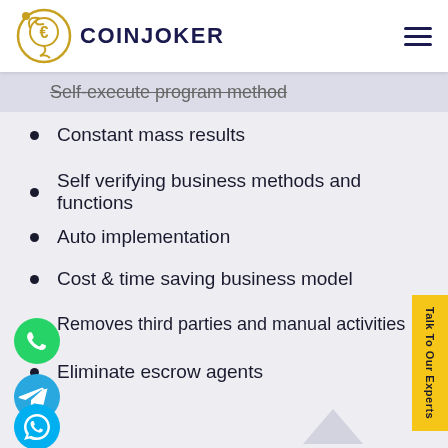COINJOKER
Self-execute program method
Constant mass results
Self verifying business methods and functions
Auto implementation
Cost & time saving business model
Removes third parties and manual activities
Eliminate escrow agents
[Figure (logo): WhatsApp green circle icon]
[Figure (logo): Telegram blue circle icon]
[Figure (logo): Skype blue circle icon]